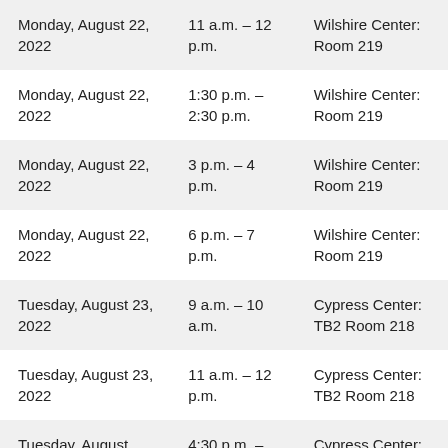| Monday, August 22, 2022 | 11 a.m. – 12 p.m. | Wilshire Center: Room 219 |
| Monday, August 22, 2022 | 1:30 p.m. – 2:30 p.m. | Wilshire Center: Room 219 |
| Monday, August 22, 2022 | 3 p.m. – 4 p.m. | Wilshire Center: Room 219 |
| Monday, August 22, 2022 | 6 p.m. – 7 p.m. | Wilshire Center: Room 219 |
| Tuesday, August 23, 2022 | 9 a.m. – 10 a.m. | Cypress Center: TB2 Room 218 |
| Tuesday, August 23, 2022 | 11 a.m. – 12 p.m. | Cypress Center: TB2 Room 218 |
| Tuesday, August 23, 2022 (partial) | 4:30 p.m. – | Cypress Center: |